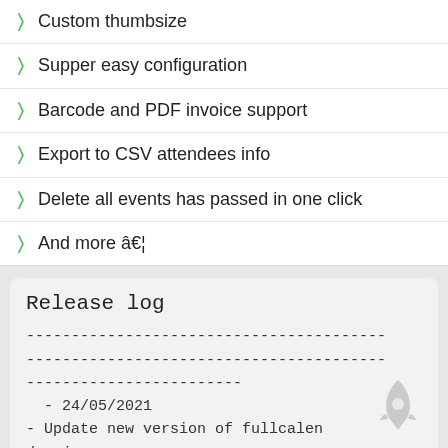Custom thumbsize
Supper easy configuration
Barcode and PDF invoice support
Export to CSV attendees info
Delete all events has passed in one click
And more â€¦
Release log
----------------------------------------
----------------------------------------
------------------------
  - 24/05/2021
- Update new version of fullcalendar js
- Add min max date parameter to c